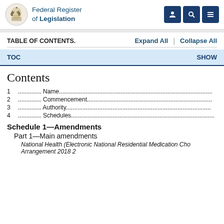Federal Register of Legislation
TABLE OF CONTENTS.  Expand All  |  Collapse All
TOC   SHOW
Contents
1.............. Name....................................................................................
2.............. Commencement.......................................................................
3.............. Authority................................................................................
4.............. Schedules..............................................................................
Schedule 1—Amendments
Part 1—Main amendments
National Health (Electronic National Residential Medication Cha Arrangement 2018   2